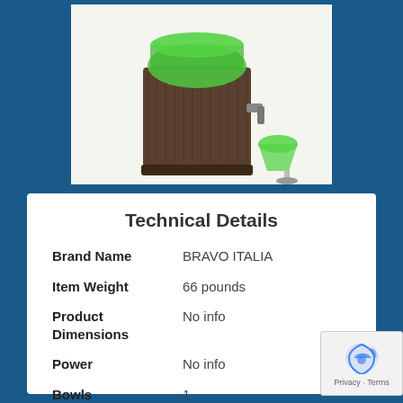[Figure (photo): A frozen drink / slushie machine (Bravo Italia brand) with green frozen beverage in the bowl, and a margarita glass with green frozen drink beside it. The machine is dark brown/bronze colored.]
Technical Details
| Attribute | Value |
| --- | --- |
| Brand Name | BRAVO ITALIA |
| Item Weight | 66 pounds |
| Product Dimensions | No info |
| Power | No info |
| Bowls | 1 |